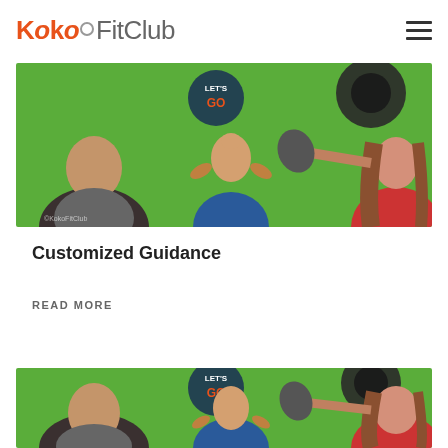Koko FitClub
[Figure (photo): Fitness studio scene with green wall showing 'LET'S GO' sign, a bald man in grey jacket, a woman in blue top doing exercises, and a woman in red top, appearing to toss a weight plate]
Customized Guidance
READ MORE
[Figure (photo): Same fitness studio scene repeated — green wall, bald man, woman in blue top, woman in red top with weight plate]